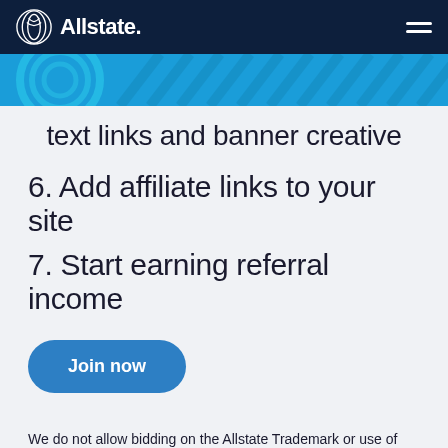Allstate
[Figure (illustration): Allstate decorative banner with blue diagonal stripe pattern]
text links and banner creative
6. Add affiliate links to your site
7. Start earning referral income
Join now
We do not allow bidding on the Allstate Trademark or use of our display URL. For more details on our policy and a list of acceptable keywords, please contact us.
Writing any outbound marketing or press releases based around your relationship with Allstate is strictly prohibited,